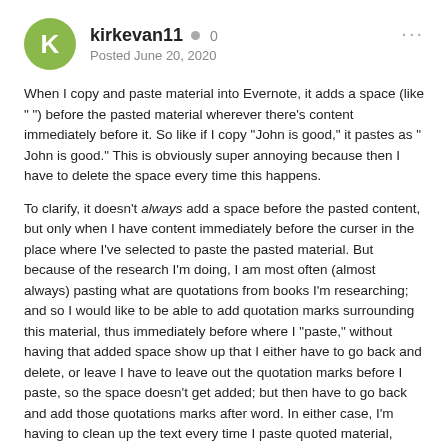kirkevan11  0  Posted June 20, 2020
When I copy and paste material into Evernote, it adds a space (like " ") before the pasted material wherever there's content immediately before it. So like if I copy "John is good," it pastes as " John is good." This is obviously super annoying because then I have to delete the space every time this happens.
To clarify, it doesn't always add a space before the pasted content, but only when I have content immediately before the curser in the place where I've selected to paste the pasted material. But because of the research I'm doing, I am most often (almost always) pasting what are quotations from books I'm researching; and so I would like to be able to add quotation marks surrounding this material, thus immediately before where I "paste," without having that added space show up that I either have to go back and delete, or leave I have to leave out the quotation marks before I paste, so the space doesn't get added; but then have to go back and add those quotations marks after word. In either case, I'm having to clean up the text every time I paste quoted material, which is annoying and overtime time-consuming.
Anyways, anyone know how to get rid of this?